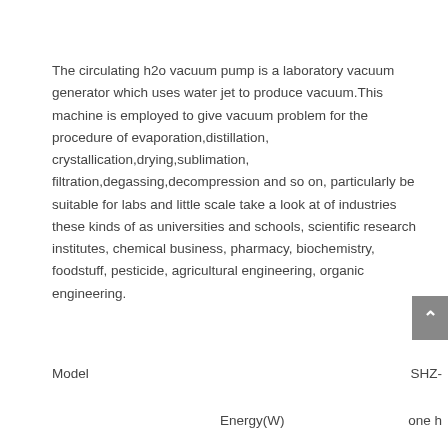The circulating h2o vacuum pump is a laboratory vacuum generator which uses water jet to produce vacuum.This machine is employed to give vacuum problem for the procedure of evaporation,distillation, crystallication,drying,sublimation, filtration,degassing,decompression and so on, particularly be suitable for labs and little scale take a look at of industries these kinds of as universities and schools, scientific research institutes, chemical business, pharmacy, biochemistry,  foodstuff, pesticide, agricultural engineering, organic engineering.
| Model | SHZ- |
| --- | --- |
| Energy(W) | one h |